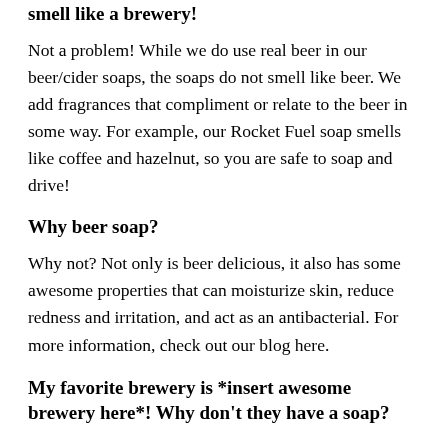smell like a brewery!
Not a problem! While we do use real beer in our beer/cider soaps, the soaps do not smell like beer. We add fragrances that compliment or relate to the beer in some way. For example, our Rocket Fuel soap smells like coffee and hazelnut, so you are safe to soap and drive!
Why beer soap?
Why not? Not only is beer delicious, it also has some awesome properties that can moisturize skin, reduce redness and irritation, and act as an antibacterial. For more information, check out our blog here.
My favorite brewery is *insert awesome brewery here*! Why don't they have a soap?